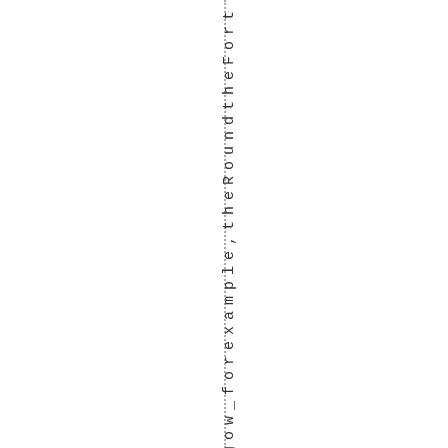gow_forexample,theRoundtheFort